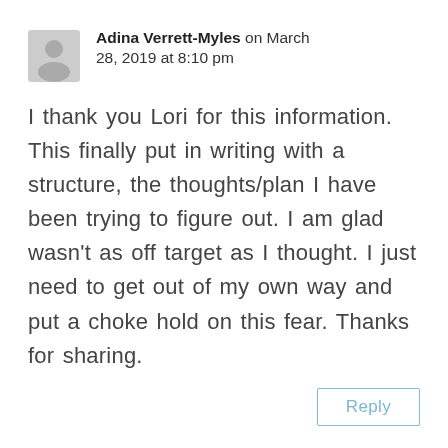Adina Verrett-Myles on March 28, 2019 at 8:10 pm
I thank you Lori for this information. This finally put in writing with a structure, the thoughts/plan I have been trying to figure out. I am glad wasn't as off target as I thought. I just need to get out of my own way and put a choke hold on this fear. Thanks for sharing.
Reply